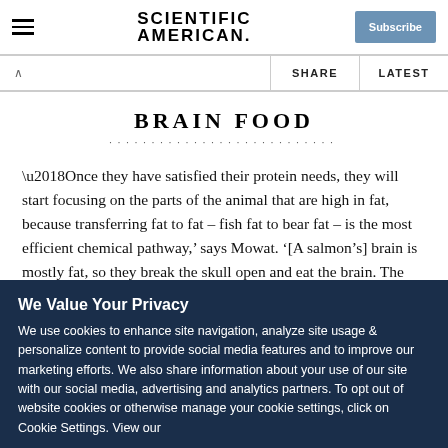SCIENTIFIC AMERICAN
BRAIN FOOD
‘Once they have satisfied their protein needs, they will start focusing on the parts of the animal that are high in fat, because transferring fat to fat – fish fat to bear fat – is the most efficient chemical pathway,’ says Mowat. ‘[A salmon’s] brain is mostly fat, so they break the skull open and eat the brain. The roe is
We Value Your Privacy
We use cookies to enhance site navigation, analyze site usage & personalize content to provide social media features and to improve our marketing efforts. We also share information about your use of our site with our social media, advertising and analytics partners. To opt out of website cookies or otherwise manage your cookie settings, click on Cookie Settings. View our